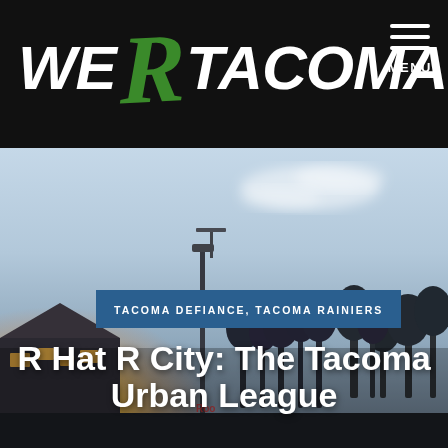WE R TACOMA
[Figure (photo): Outdoor baseball or soccer stadium at dusk/twilight with light glow on the left, trees and stadium structures silhouetted against a pale blue-grey sky with clouds]
TACOMA DEFIANCE, TACOMA RAINIERS
R Hat R City: The Tacoma Urban League